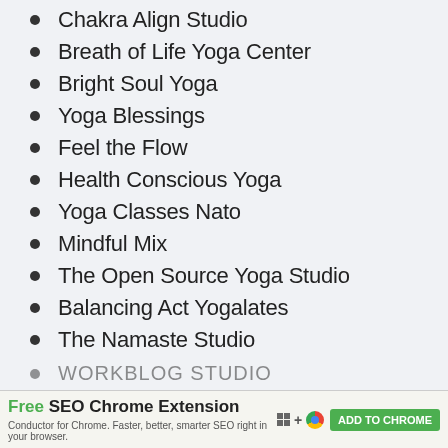Chakra Align Studio
Breath of Life Yoga Center
Bright Soul Yoga
Yoga Blessings
Feel the Flow
Health Conscious Yoga
Yoga Classes Nato
Mindful Mix
The Open Source Yoga Studio
Balancing Act Yogalates
The Namaste Studio
Grape Yogi
Peaceful Beginnings
Free SEO Chrome Extension — Conductor for Chrome. Faster, better, smarter SEO right in your browser. ADD TO CHROME
WORKBLOG STUDIO